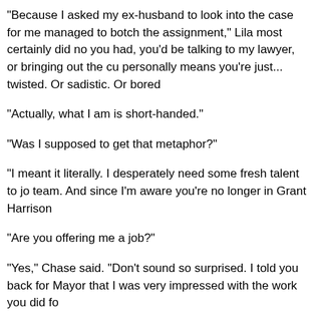"Because I asked my ex-husband to look into the case for me managed to botch the assignment," Lila most certainly did no you had, you'd be talking to my lawyer, or bringing out the cu personally means you're just... twisted. Or sadistic. Or bored
"Actually, what I am is short-handed."
"Was I supposed to get that metaphor?"
"I meant it literally. I desperately need some fresh talent to jo team. And since I'm aware you're no longer in Grant Harrison
"Are you offering me a job?"
"Yes," Chase said. "Don't sound so surprised. I told you back for Mayor that I was very impressed with the work you did fo
"What's the catch?"
"Well, to start, I can't pay nearly as well as he did. Public serv
"How do you know what I made working for Grant?"
"It's quite possible your tax returns may have landed on my d